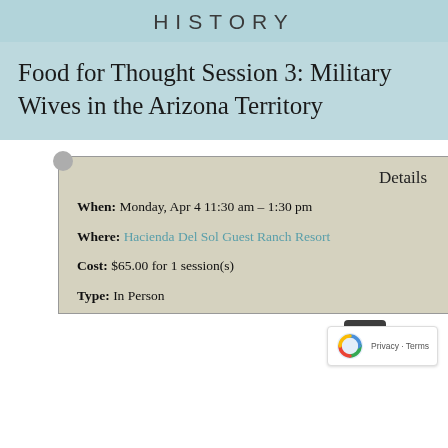HISTORY
Food for Thought Session 3: Military Wives in the Arizona Territory
Details
When: Monday, Apr 4 11:30 am – 1:30 pm
Where: Hacienda Del Sol Guest Ranch Resort
Cost: $65.00 for 1 session(s)
Type: In Person